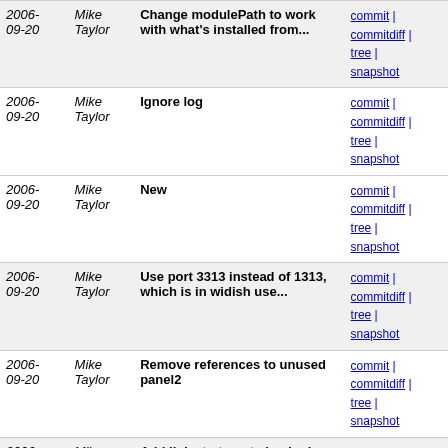| Date | Author | Message | Links |
| --- | --- | --- | --- |
| 2006-09-20 | Mike Taylor | Change modulePath to work with what's installed from... | commit | commitdiff | tree | snapshot |
| 2006-09-20 | Mike Taylor | Ignore log | commit | commitdiff | tree | snapshot |
| 2006-09-20 | Mike Taylor | New | commit | commitdiff | tree | snapshot |
| 2006-09-20 | Mike Taylor | Use port 3313 instead of 1313, which is in widish use... | commit | commitdiff | tree | snapshot |
| 2006-09-20 | Mike Taylor | Remove references to unused panel2 | commit | commitdiff | tree | snapshot |
| 2006-09-20 | Mike Taylor | Add links to targets beginning with each letter. | commit | commitdiff | tree | snapshot |
| 2006-09-20 | Mike Taylor | Omit padding at top of panel1/2 | commit | commitdiff | tree | snapshot |
| 2006-09-20 | Mike Taylor | Omit empty parameters from prev/next URLs. | commit | commitdiff | tree | snapshot |
| 2006-09-20 | Mike Taylor | Use "author" rather than "creator", as this is ZeeRex... | commit | commitdiff | tree | snapshot |
| 2006-09-20 | Mike Taylor | Request numeric order when sorting by port. | commit | commitdiff | tree | snapshot |
| 2006-09-20 | Mike | Add relationModifier numeric... | commit |